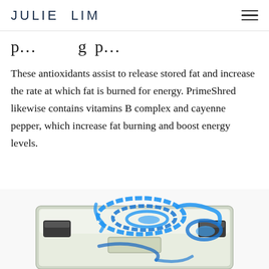JULIE LIM
p…g p…
These antioxidants assist to release stored fat and increase the rate at which fat is burned for energy. PrimeShred likewise contains vitamins B complex and cayenne pepper, which increase fat burning and boost energy levels.
[Figure (photo): A bathroom weight scale with a blue measuring tape coiled on top of it, viewed from above at a slight angle. The scale has a glass top with two black rectangular grip pads and a digital display window.]